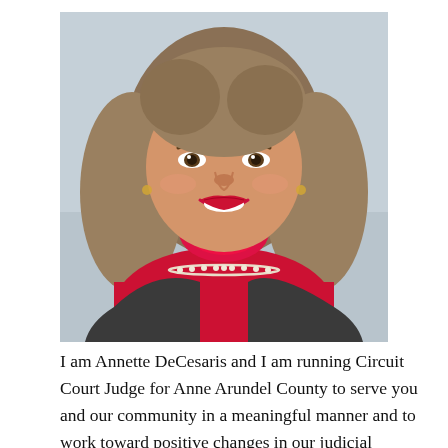[Figure (photo): Professional headshot of a woman with shoulder-length blonde-brown hair, wearing a red turtleneck and dark grey blazer with a pearl necklace, smiling against a light grey background.]
I am Annette DeCesaris and I am running Circuit Court Judge for Anne Arundel County to serve you and our community in a meaningful manner and to work toward positive changes in our judicial